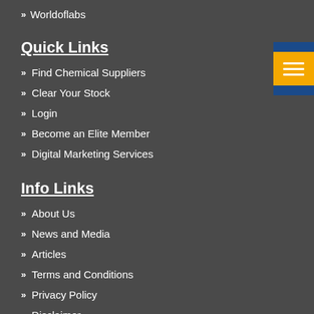» Worldoflabs
Quick Links
» Find Chemical Suppliers
» Clear Your Stock
» Login
» Become an Elite Member
» Digital Marketing Services
Info Links
» About Us
» News and Media
» Articles
» Terms and Conditions
» Privacy Policy
» Disclaimer
» Blog